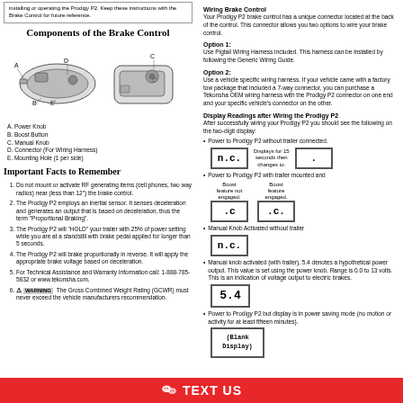installing or operating the Prodigy P2. Keep these instructions with the Brake Control for future reference.
Components of the Brake Control
[Figure (illustration): Two diagrams of the Prodigy P2 brake control unit with labeled parts A, B, C, D, E]
A. Power Knob
B. Boost Button
C. Manual Knob
D. Connector (For Wiring Harness)
E. Mounting Hole (1 per side)
Important Facts to Remember
Do not mount or activate RF generating items (cell phones, two way radios) near (less than 12") the brake control.
The Prodigy P2 employs an inertial sensor. It senses deceleration and generates an output that is based on deceleration, thus the term "Proportional Braking".
The Prodigy P2 will "HOLD" your trailer with 25% of power setting while you are at a standstill with brake pedal applied for longer than 5 seconds.
The Prodigy P2 will brake proportionally in reverse. It will apply the appropriate brake voltage based on deceleration.
For Technical Assistance and Warranty Information call: 1-888-785-5832 or www.tekonsha.com.
WARNING The Gross Combined Weight Rating (GCWR) must never exceed the vehicle manufacturers recommendation.
Wiring Brake Control
Your Prodigy P2 brake control has a unique connector located at the back of the control. This connector allows you two options to wire your brake control.
Option 1:
Use Pigtail Wiring Harness included. This harness can be installed by following the Generic Wiring Guide.
Option 2:
Use a vehicle specific wiring harness. If your vehicle came with a factory tow package that included a 7-way connector, you can purchase a Tekonsha OEM wiring harness with the Prodigy P2 connector on one end and your specific vehicle's connector on the other.
Display Readings after Wiring the Prodigy P2
After successfully wiring your Prodigy P2 you should see the following on the two-digit display:
Power to Prodigy P2 without trailer connected. Displays for 15 seconds then changes to:
[Figure (illustration): Display showing n.c. then dot]
Power to Prodigy P2 with trailer mounted and Boost feature not engaged / Boost feature engaged
[Figure (illustration): Display showing .c and .c.]
Manual Knob Activated without trailer
[Figure (illustration): Display showing n.c.]
Manual knob activated (with trailer), 5.4 denotes a hypothetical power output. This value is set using the power knob. Range is 0.0 to 13 volts. This is an indication of voltage output to electric brakes.
[Figure (illustration): Display showing 5.4]
Power to Prodigy P2 but display is in power saving mode (no motion or activity for at least fifteen minutes).
[Figure (illustration): Blank Display]